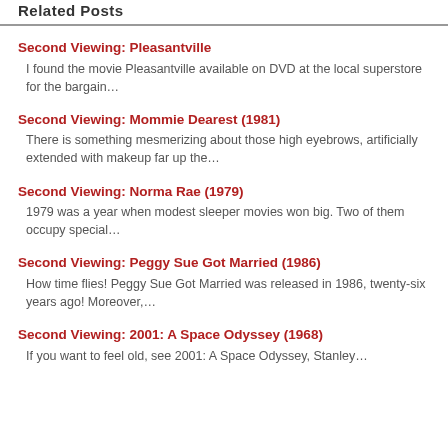Related Posts
Second Viewing: Pleasantville
I found the movie Pleasantville available on DVD at the local superstore for the bargain…
Second Viewing: Mommie Dearest (1981)
There is something mesmerizing about those high eyebrows, artificially extended with makeup far up the…
Second Viewing: Norma Rae (1979)
1979 was a year when modest sleeper movies won big. Two of them occupy special…
Second Viewing: Peggy Sue Got Married (1986)
How time flies! Peggy Sue Got Married was released in 1986, twenty-six years ago! Moreover,…
Second Viewing: 2001: A Space Odyssey (1968)
If you want to feel old, see 2001: A Space Odyssey, Stanley…